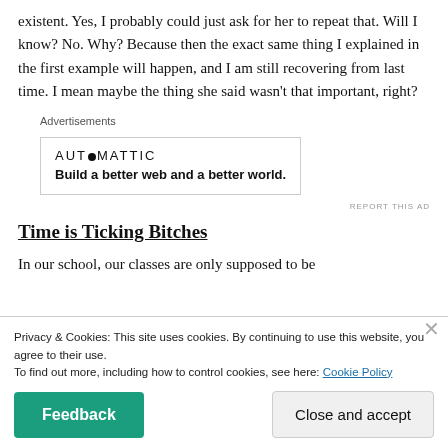existent. Yes, I probably could just ask for her to repeat that. Will I know? No. Why? Because then the exact same thing I explained in the first example will happen, and I am still recovering from last time. I mean maybe the thing she said wasn't that important, right?
Advertisements
[Figure (logo): Automattic logo and tagline: Build a better web and a better world.]
REPORT THIS AD
Time is Ticking Bitches
In our school, our classes are only supposed to be
Privacy & Cookies: This site uses cookies. By continuing to use this website, you agree to their use.
To find out more, including how to control cookies, see here: Cookie Policy